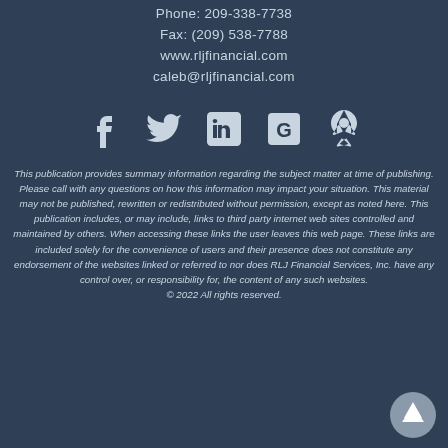Phone: 209-338-7738
Fax: (209) 538-7788
www.rljfinancial.com
caleb@rljfinancial.com
[Figure (other): Social media icons: Facebook, Twitter, LinkedIn, Google My Business, Yelp]
This publication provides summary information regarding the subject matter at time of publishing. Please call with any questions on how this information may impact your situation. This material may not be published, rewritten or redistributed without permission, except as noted here. This publication includes, or may include, links to third party internet web sites controlled and maintained by others. When accessing these links the user leaves this web page. These links are included solely for the convenience of users and their presence does not constitute any endorsement of the websites linked or referred to nor does RLJ Financial Services, Inc. have any control over, or responsibility for, the content of any such websites.
© 2022 All rights reserved.